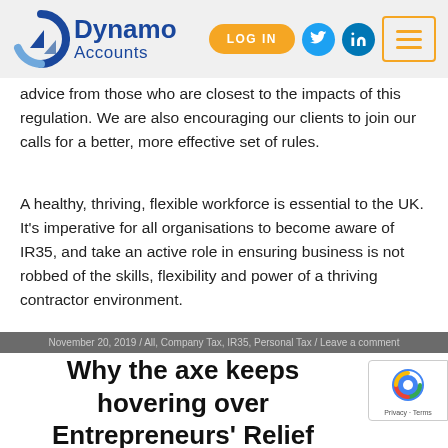Dynamo Accounts — LOG IN navigation header
advice from those who are closest to the impacts of this regulation. We are also encouraging our clients to join our calls for a better, more effective set of rules.
A healthy, thriving, flexible workforce is essential to the UK. It's imperative for all organisations to become aware of IR35, and take an active role in ensuring business is not robbed of the skills, flexibility and power of a thriving contractor environment.
November 20, 2019 / All, Company Tax, IR35, Personal Tax / Leave a comment
Why the axe keeps hovering over Entrepreneurs' Relief